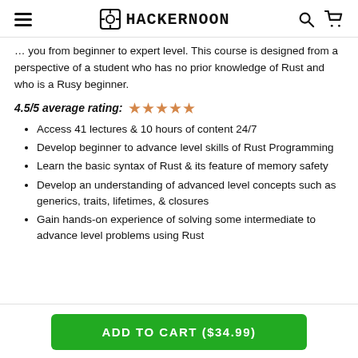HACKERNOON
you from beginner to expert level. This course is designed from a perspective of a student who has no prior knowledge of Rust and who is a Rusy beginner.
4.5/5 average rating: ★ ★ ★ ★ ★
Access 41 lectures & 10 hours of content 24/7
Develop beginner to advance level skills of Rust Programming
Learn the basic syntax of Rust & its feature of memory safety
Develop an understanding of advanced level concepts such as generics, traits, lifetimes, & closures
Gain hands-on experience of solving some intermediate to advance level problems using Rust
ADD TO CART ($34.99)